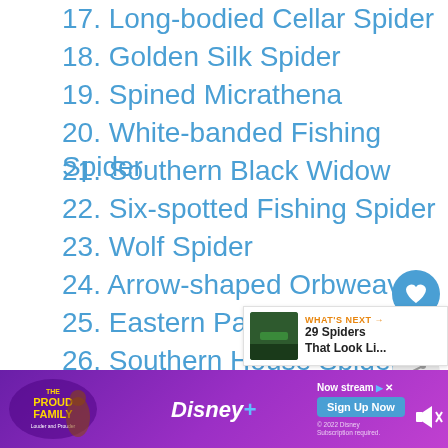17. Long-bodied Cellar Spider
18. Golden Silk Spider
19. Spined Micrathena
20. White-banded Fishing Spider
21. Southern Black Widow
22. Six-spotted Fishing Spider
23. Wolf Spider
24. Arrow-shaped Orbweaver
25. Eastern Parson Spider
26. Southern House Spider
27. Emerald Jumping Spider
28. Twin-flagged Jumping Spider
[Figure (screenshot): Advertisement banner for Disney+ The Proud Family streaming show with Sign Up Now button]
WHAT'S NEXT → 29 Spiders That Look Li...